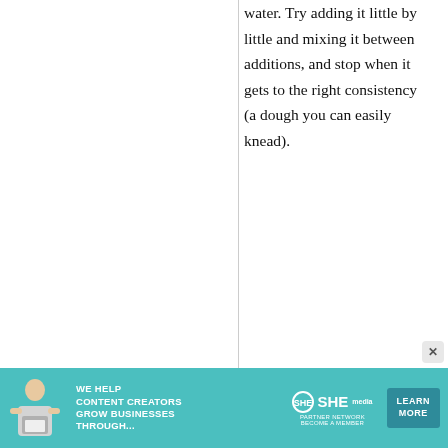water. Try adding it little by little and mixing it between additions, and stop when it gets to the right consistency (a dough you can easily knead).
[Figure (infographic): Advertisement banner for SHE Media Partner Network. Teal background with woman using laptop, headline 'We help content creators grow businesses through...', SHE logo with circular emblem, 'Partner Network / Become a Member' subtext, and 'Learn More' button.]